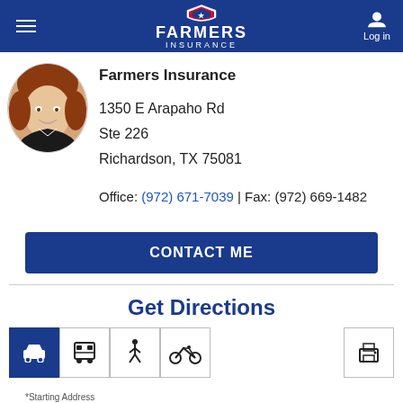[Figure (logo): Farmers Insurance logo in white on blue header bar]
[Figure (photo): Headshot of a smiling woman with auburn hair in a black top, cropped in oval/circle shape]
Farmers Insurance
1350 E Arapaho Rd
Ste 226
Richardson, TX 75081
Office: (972) 671-7039 | Fax: (972) 669-1482
CONTACT ME
Get Directions
*Starting Address